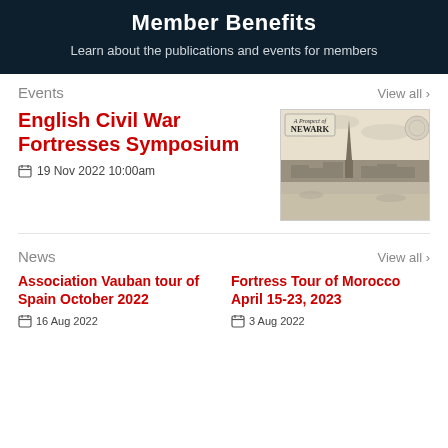Member Benefits
Learn about the publications and events for members
Events
View all >
English Civil War Fortresses Symposium
19 Nov 2022 10:00am
[Figure (illustration): Historical etching/engraving of Newark showing a cityscape with a tall church spire and surrounding buildings, with a decorative cartouche labeled 'Newark' in the top left corner.]
News
View all >
Association Vauban tour of Spain October 2022
16 Aug 2022
Fortress Tour of Morocco April 15-23, 2023
3 Aug 2022